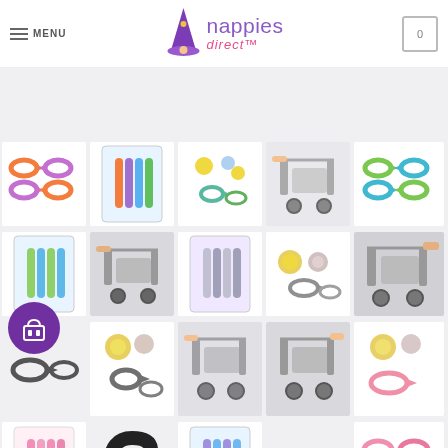MENU | nappies direct™ | cart (0)
[Figure (screenshot): Product grid of nappies direct website showing multiple baby product images including stroller clips, teething rings, pram hooks in various colors (orange, blue, green, grey, pink). A purple circular button with a shopping bag/gift icon is visible in the lower left.]